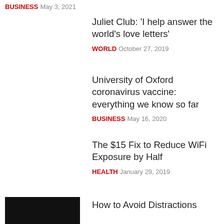BUSINESS  May 3, 2021
Juliet Club: 'I help answer the world's love letters'
WORLD  October 27, 2019
University of Oxford coronavirus vaccine: everything we know so far
BUSINESS  May 16, 2020
The $15 Fix to Reduce WiFi Exposure by Half
HEALTH  January 29, 2019
How to Avoid Distractions